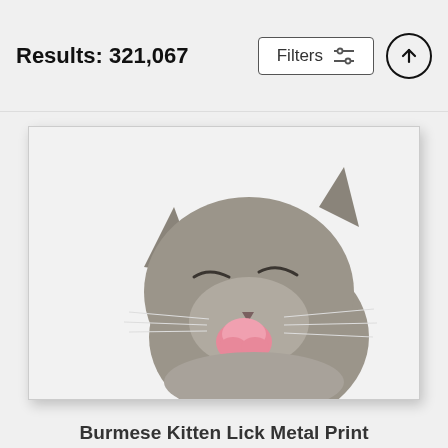Results: 321,067
Filters
[Figure (photo): A grey Burmese kitten with eyes closed and tongue sticking out, photographed on a white background]
Burmese Kitten Lick Metal Print
Sergey Taran
$76 (crossed out) $61